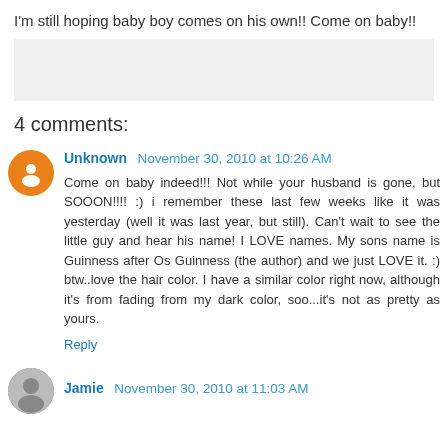I'm still hoping baby boy comes on his own!! Come on baby!!
[Figure (other): Gray placeholder box (advertisement or image area)]
4 comments:
Unknown  November 30, 2010 at 10:26 AM
Come on baby indeed!!! Not while your husband is gone, but SOOON!!!! :) i remember these last few weeks like it was yesterday (well it was last year, but still). Can't wait to see the little guy and hear his name! I LOVE names. My sons name is Guinness after Os Guinness (the author) and we just LOVE it. :) btw..love the hair color. I have a similar color right now, although it's from fading from my dark color, soo...it's not as pretty as yours.
Reply
Jamie  November 30, 2010 at 11:03 AM